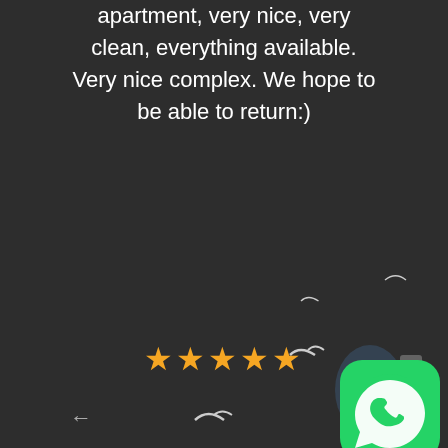apartment, very nice, very clean, everything available. Very nice complex. We hope to be able to return:)
[Figure (other): Five gold stars rating]
[Figure (other): Navigation arrows left and right, decorative bird silhouettes, WhatsApp icon button in bottom right corner]